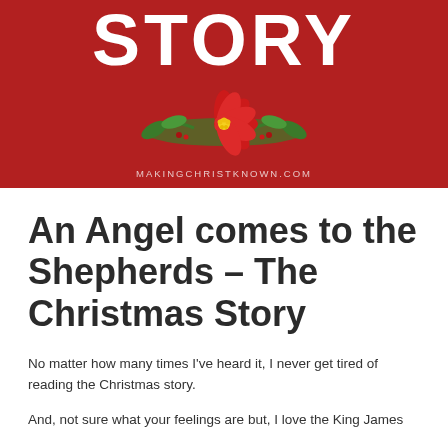[Figure (illustration): Red banner header showing the word STORY in large white bold uppercase letters, with a poinsettia flower illustration (red flower, green leaves) centered below, and the URL MAKINGCHRISTKNOWN.COM in small text at the bottom, all on a dark red background.]
An Angel comes to the Shepherds – The Christmas Story
No matter how many times I've heard it, I never get tired of reading the Christmas story.
And, not sure what your feelings are but, I love the King James